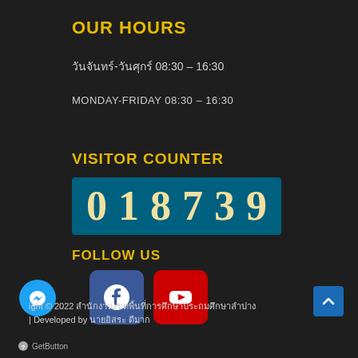OUR HOURS
วันจันทร์-วันศุกร์ 08:30 – 16:30
MONDAY-FRIDAY 08:30 – 16:30
VISITOR COUNTER
[Figure (other): Visitor counter display showing digits 0 1 8 7 3 9 on a teal background]
FOLLOW US
[Figure (other): Social media buttons: Facebook (blue) and YouTube (red)]
ight © 2022 สำนักงานเขตพื้นที่การศึกษาประถมศึกษาลำปาง | Developed by นายอิสระ ดีมาก
GetButton